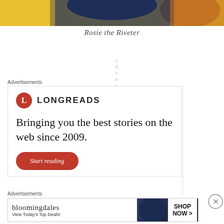[Figure (illustration): Top portion of Rosie the Riveter illustration with yellow background and dark blue/orange elements]
Rosie the Riveter
Advert.
Advertisements
[Figure (infographic): Longreads advertisement with red circle L logo, text 'Bringing you the best stories on the web since 2009.' and a red 'Start reading' button]
Advertisements
[Figure (infographic): Bloomingdales advertisement with logo, woman in hat, text 'View Today's Top Deals!' and 'SHOP NOW >' button]